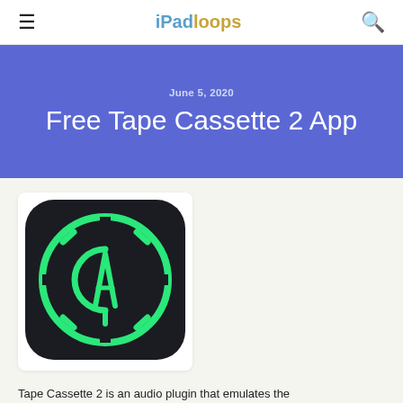iPadloops
Free Tape Cassette 2 App
June 5, 2020
[Figure (logo): Tape Cassette 2 app icon: dark rounded square with bright green circular logo containing stylized letters CA]
Tape Cassette 2 is an audio plugin that emulates the